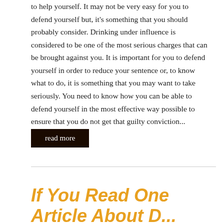to help yourself. It may not be very easy for you to defend yourself but, it's something that you should probably consider. Drinking under influence is considered to be one of the most serious charges that can be brought against you. It is important for you to defend yourself in order to reduce your sentence or, to know what to do, it is something that you may want to take seriously. You need to know how you can be able to defend yourself in the most effective way possible to ensure that you do not get that guilty conviction...
read more
If You Read One Article About Drunken...